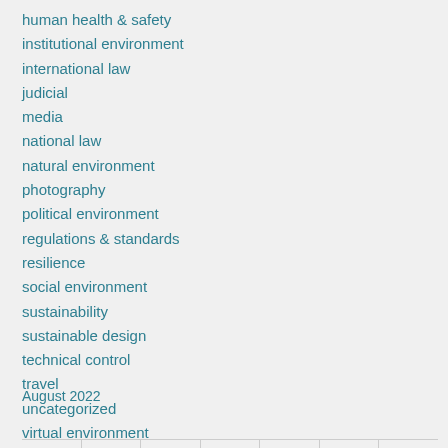human health & safety
institutional environment
international law
judicial
media
national law
natural environment
photography
political environment
regulations & standards
resilience
social environment
sustainability
sustainable design
technical control
travel
uncategorized
virtual environment
August 2022